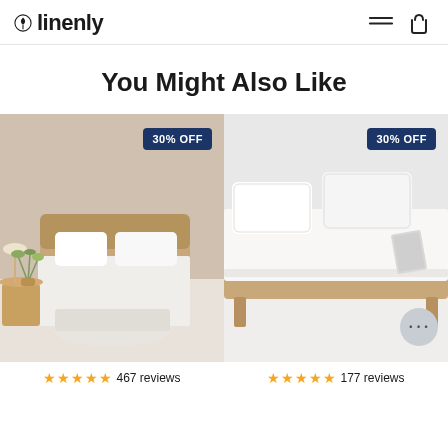linenly
You Might Also Like
[Figure (photo): Two product images side by side: left shows white bed sheets on a bed in a warm beige room, right shows a white fitted sheet on a bed with white pillows. Both have '30% OFF' badges.]
467 reviews   177 reviews